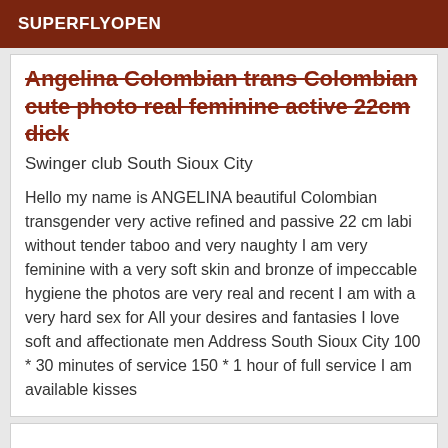SUPERFLYOPEN
Angelina Colombian trans Colombian cute photo real feminine active 22cm dick
Swinger club South Sioux City
Hello my name is ANGELINA beautiful Colombian transgender very active refined and passive 22 cm labi without tender taboo and very naughty I am very feminine with a very soft skin and bronze of impeccable hygiene the photos are very real and recent I am with a very hard sex for All your desires and fantasies I love soft and affectionate men Address South Sioux City 100 * 30 minutes of service 150 * 1 hour of full service I am available kisses